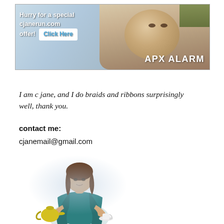[Figure (photo): Advertisement banner for APX Alarm featuring a baby's face and text 'Hurry for a special cjanerun.com offer! Click Here' with APX ALARM logo]
I am c jane, and I do braids and ribbons surprisingly well, thank you.
contact me:
cjanemail@gmail.com
[Figure (illustration): Woman with brown hair wearing teal blouse, holding a yellow teapot and a white cup on a saucer, with a soft glow/halo background effect]